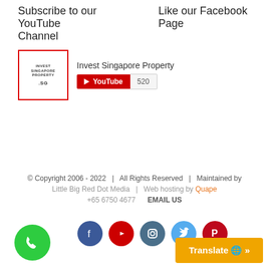Subscribe to our YouTube Channel
Like our Facebook Page
[Figure (logo): Invest Singapore Property logo box with red border and .sg text, YouTube subscribe button showing 520 subscribers]
© Copyright 2006 - 2022   |   All Rights Reserved   |   Maintained by Little Big Red Dot Media  |  Web hosting by Quape  +65 6750 4677    EMAIL US
[Figure (infographic): Social media icons row: Facebook, YouTube, Instagram, Twitter, Pinterest; green phone button; orange Translate button]